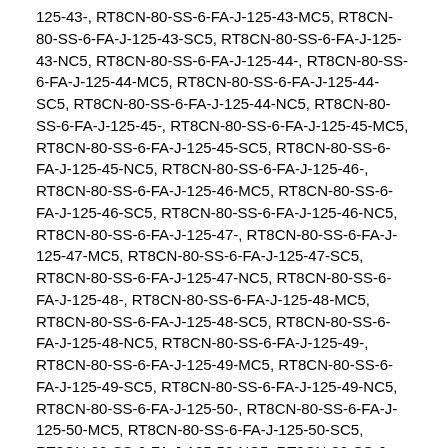125-43-, RT8CN-80-SS-6-FA-J-125-43-MC5, RT8CN-80-SS-6-FA-J-125-43-SC5, RT8CN-80-SS-6-FA-J-125-43-NC5, RT8CN-80-SS-6-FA-J-125-44-, RT8CN-80-SS-6-FA-J-125-44-MC5, RT8CN-80-SS-6-FA-J-125-44-SC5, RT8CN-80-SS-6-FA-J-125-44-NC5, RT8CN-80-SS-6-FA-J-125-45-, RT8CN-80-SS-6-FA-J-125-45-MC5, RT8CN-80-SS-6-FA-J-125-45-SC5, RT8CN-80-SS-6-FA-J-125-45-NC5, RT8CN-80-SS-6-FA-J-125-46-, RT8CN-80-SS-6-FA-J-125-46-MC5, RT8CN-80-SS-6-FA-J-125-46-SC5, RT8CN-80-SS-6-FA-J-125-46-NC5, RT8CN-80-SS-6-FA-J-125-47-, RT8CN-80-SS-6-FA-J-125-47-MC5, RT8CN-80-SS-6-FA-J-125-47-SC5, RT8CN-80-SS-6-FA-J-125-47-NC5, RT8CN-80-SS-6-FA-J-125-48-, RT8CN-80-SS-6-FA-J-125-48-MC5, RT8CN-80-SS-6-FA-J-125-48-SC5, RT8CN-80-SS-6-FA-J-125-48-NC5, RT8CN-80-SS-6-FA-J-125-49-, RT8CN-80-SS-6-FA-J-125-49-MC5, RT8CN-80-SS-6-FA-J-125-49-SC5, RT8CN-80-SS-6-FA-J-125-49-NC5, RT8CN-80-SS-6-FA-J-125-50-, RT8CN-80-SS-6-FA-J-125-50-MC5, RT8CN-80-SS-6-FA-J-125-50-SC5, RT8CN-80-SS-6-FA-J-125-50-NC5, RT8CN-80-SS-6-FA-J-125-51-, RT8CN-80-SS-6-FA-J-125-51-MC5, RT8CN-80-SS-6-FA-J-125-51-SC5, RT8CN-80-SS-6-FA-J-125-51-NC5, RT8CN-80-SS-6-FA-J-125-52-, RT8CN-80-SS-6-FA-J-125-52-MC5, RT8CN-80-SS-6-FA-J-125-52-SC5, RT8CN-80-SS-6-FA-J-125-52-NC5, RT8CN-80-SS-6-FA-J-125-53-, RT8CN-80-SS-6-FA-J-125-53-MC5, RT8CN-80-SS-6-FA-J-125-53-SC5, RT8CN-80-SS-6-